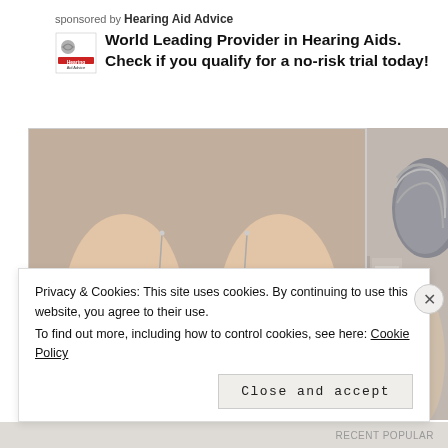sponsored by Hearing Aid Advice
World Leading Provider in Hearing Aids. Check if you qualify for a no-risk trial today!
[Figure (photo): Two small hearing aids (one blue, one red/maroon, both branded 'signia') being held between fingers against a blurred background. A partial second photo showing a person's ear with grey hair is visible on the right.]
Privacy & Cookies: This site uses cookies. By continuing to use this website, you agree to their use.
To find out more, including how to control cookies, see here: Cookie Policy
Close and accept